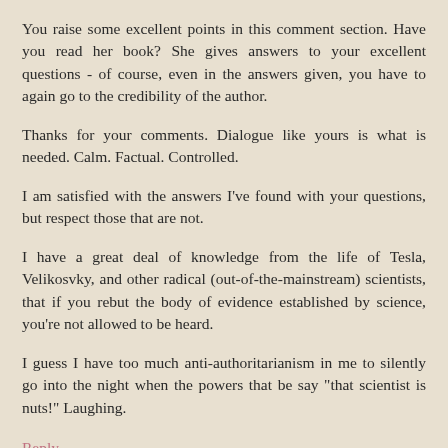You raise some excellent points in this comment section. Have you read her book? She gives answers to your excellent questions - of course, even in the answers given, you have to again go to the credibility of the author.
Thanks for your comments. Dialogue like yours is what is needed. Calm. Factual. Controlled.
I am satisfied with the answers I've found with your questions, but respect those that are not.
I have a great deal of knowledge from the life of Tesla, Velikosvky, and other radical (out-of-the-mainstream) scientists, that if you rebut the body of evidence established by science, you're not allowed to be heard.
I guess I have too much anti-authoritarianism in me to silently go into the night when the powers that be say "that scientist is nuts!" Laughing.
Reply